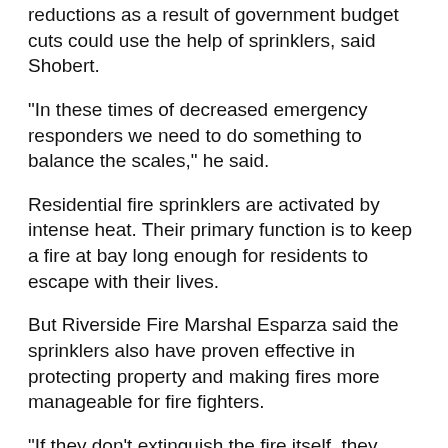reductions as a result of government budget cuts could use the help of sprinklers, said Shobert.
"In these times of decreased emergency responders we need to do something to balance the scales," he said.
Residential fire sprinklers are activated by intense heat. Their primary function is to keep a fire at bay long enough for residents to escape with their lives.
But Riverside Fire Marshal Esparza said the sprinklers also have proven effective in protecting property and making fires more manageable for fire fighters.
"If they don't extinguish the fire itself, they contain it well enough for us to come in and put it out," he said.
Public concern about widespread water damage from the sprinklers is unwarranted, fire officials say, because when a fire ignites, such as from an electric short, it